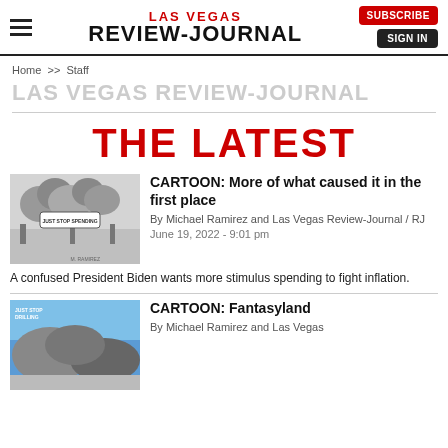LAS VEGAS REVIEW-JOURNAL | SUBSCRIBE | SIGN IN
Home >> Staff
LAS VEGAS REVIEW-JOURNAL
THE LATEST
[Figure (illustration): Editorial cartoon thumbnail — monochrome scene with smoke/explosions and a speech bubble reading 'JUST STOP SPENDING']
CARTOON: More of what caused it in the first place
By Michael Ramirez and Las Vegas Review-Journal / RJ
June 19, 2022 - 9:01 pm
A confused President Biden wants more stimulus spending to fight inflation.
[Figure (illustration): Editorial cartoon thumbnail — blue sky background with large rounded shapes]
CARTOON: Fantasyland
By Michael Ramirez and Las Vegas